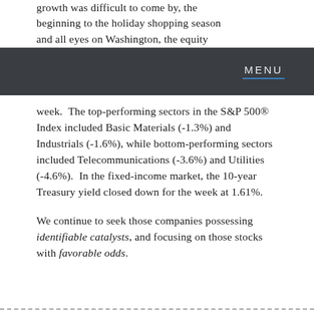growth was difficult to come by, the beginning to the holiday shopping season and all eyes on Washington, the equity markets will continue to have a lot to
MENU
week.  The top-performing sectors in the S&P 500® Index included Basic Materials (-1.3%) and Industrials (-1.6%), while bottom-performing sectors included Telecommunications (-3.6%) and Utilities (-4.6%).  In the fixed-income market, the 10-year Treasury yield closed down for the week at 1.61%.
We continue to seek those companies possessing identifiable catalysts, and focusing on those stocks with favorable odds.